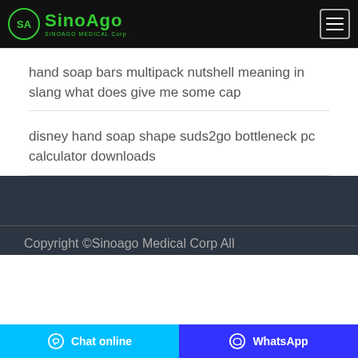SinoAgo MEDICAL Corp
hand soap bars multipack nutshell meaning in slang what does give me some cap
disney hand soap shape suds2go bottleneck pc calculator downloads
Copyright ©Sinoago Medical Corp All
Chat online
WhatsApp